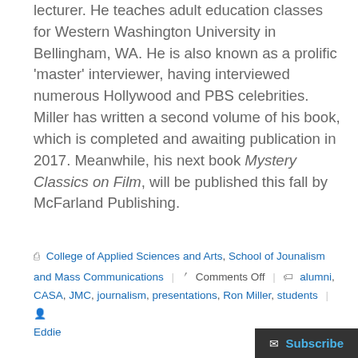lecturer. He teaches adult education classes for Western Washington University in Bellingham, WA. He is also known as a prolific 'master' interviewer, having interviewed numerous Hollywood and PBS celebrities. Miller has written a second volume of his book, which is completed and awaiting publication in 2017. Meanwhile, his next book Mystery Classics on Film, will be published this fall by McFarland Publishing.
College of Applied Sciences and Arts, School of Jounalism and Mass Communications | Comments Off | alumni, CASA, JMC, journalism, presentations, Ron Miller, students | Eddie
Subscribe